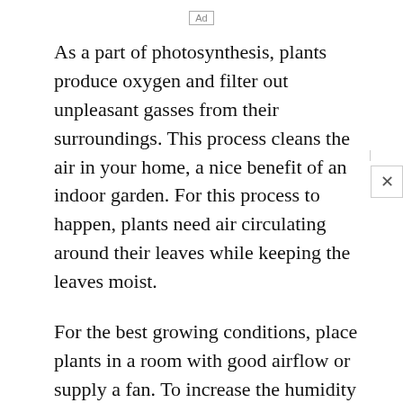Ad
As a part of photosynthesis, plants produce oxygen and filter out unpleasant gasses from their surroundings. This process cleans the air in your home, a nice benefit of an indoor garden. For this process to happen, plants need air circulating around their leaves while keeping the leaves moist.
For the best growing conditions, place plants in a room with good airflow or supply a fan. To increase the humidity in order to keep the leaves moist, mist plants daily, and keep plants grouped together. The room will become slightly more humid than the rest of your house, and the plants will be happy.